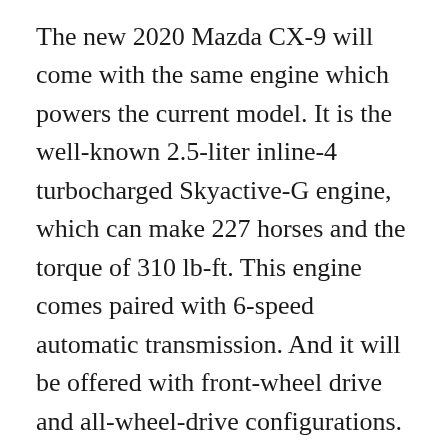The new 2020 Mazda CX-9 will come with the same engine which powers the current model. It is the well-known 2.5-liter inline-4 turbocharged Skyactive-G engine, which can make 227 horses and the torque of 310 lb-ft. This engine comes paired with 6-speed automatic transmission. And it will be offered with front-wheel drive and all-wheel-drive configurations. With only front-wheel drive, this unit gets 22 mpg in the city and 28 mpg on the highway. The fuel economy for the version with all-wheel-drive is estimated at 20 mpg in the city and 26 mpg on the highway. Its towing capacity will be up to 3,500 pounds.